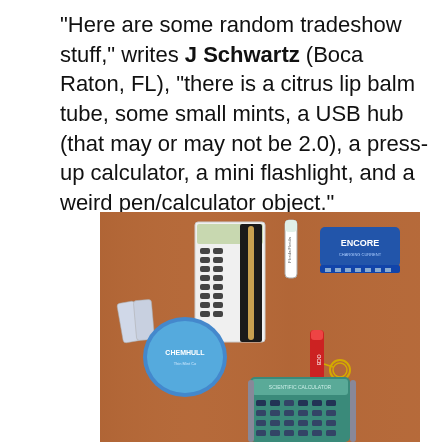"Here are some random tradeshow stuff," writes J Schwartz (Boca Raton, FL), "there is a citrus lip balm tube, some small mints, a USB hub (that may or may not be 2.0), a press-up calculator, a mini flashlight, and a weird pen/calculator object."
[Figure (photo): Photo of various tradeshow promotional items laid out on a wooden surface: a press-up calculator with a pen in a box, a white lip balm tube, a blue USB hub labeled ENCORE, a blue round mint container labeled CHEMHULL, small mints in wrappers, a red mini flashlight with keyring labeled OCB, and a teal/green calculator.]